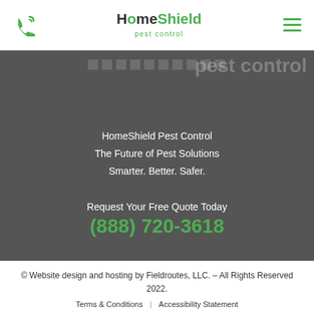HomeShield pest control — navigation header
[Figure (screenshot): Dark hero banner with faded background text 'pest control', tagline, and phone number]
HomeShield Pest Control
The Future of Pest Solutions
Smarter. Better. Safer.
Request Your Free Quote Today
(888) 720-3618
© Website design and hosting by Fieldroutes, LLC. – All Rights Reserved 2022.
Terms & Conditions | Accessibility Statement